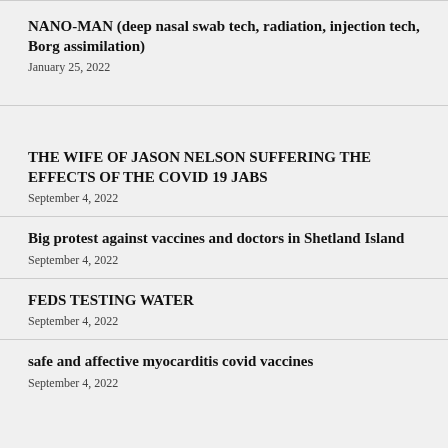NANO-MAN (deep nasal swab tech, radiation, injection tech, Borg assimilation)
January 25, 2022
THE WIFE OF JASON NELSON SUFFERING THE EFFECTS OF THE COVID 19 JABS
September 4, 2022
Big protest against vaccines and doctors in Shetland Island
September 4, 2022
FEDS TESTING WATER
September 4, 2022
safe and affective myocarditis covid vaccines
September 4, 2022